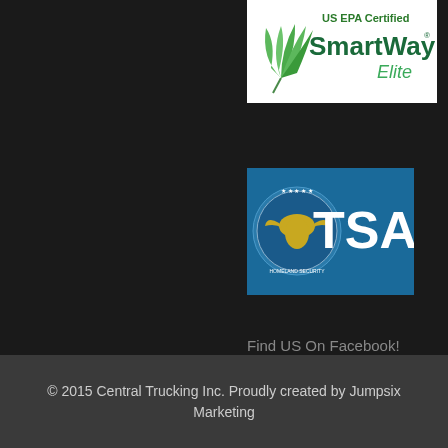[Figure (logo): US EPA Certified SmartWay Elite logo — green feather/leaf icon with teal and green text on white background]
[Figure (logo): TSA (Transportation Security Administration) logo — blue background with DHS eagle seal and white TSA lettering]
Find US On Facebook!
[Figure (logo): Social media icons: Facebook (blue with f), Twitter (blue bird), Instagram (gradient camera icon)]
© 2015 Central Trucking Inc. Proudly created by Jumpsix Marketing